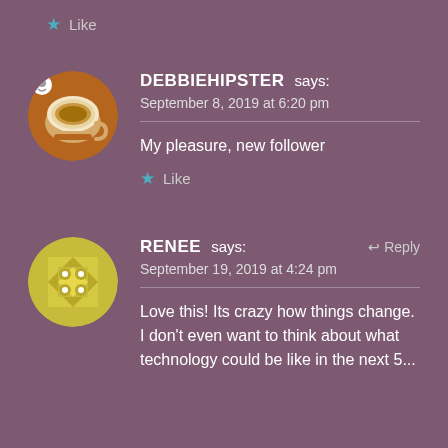Like
DEBBIEHIPSTER says:
September 8, 2019 at 6:20 pm

My pleasure, new follower

Like
RENEE says:
September 19, 2019 at 4:24 pm

Love this! Its crazy how things change. I don't even want to think about what technology could be like in the next 5...